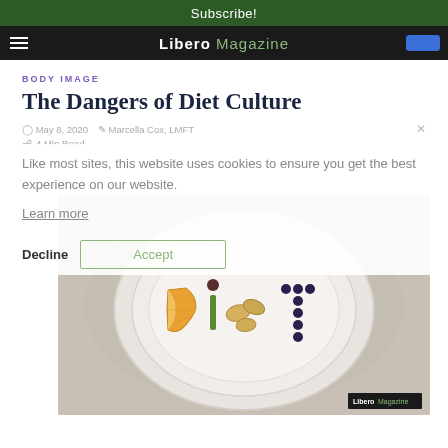Subscribe!
Libero Magazine
BODY IMAGE
The Dangers of Diet Culture
May 8, 2020   Marcella Cox, LMFT
4 Min Read
Like most sites, this website uses cookies to ensure you get the best experience on our website.
Learn more
Decline   Accept
[Figure (photo): A white plate on a light stone surface, with food items arranged to spell the word 'DIET' — an orange slice, a green vegetable stick, cashew nuts, blueberries forming a cross shape, and a small chocolate heart. Libero Magazine watermark in bottom right corner.]